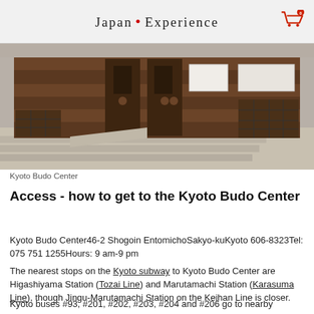Japan • Experience
[Figure (photo): Exterior photo of Kyoto Budo Center showing wooden facade with shelving units and stone steps]
Kyoto Budo Center
Access - how to get to the Kyoto Budo Center
Kyoto Budo Center46-2 Shogoin EntomichoSakyo-kuKyoto 606-8323Tel: 075 751 1255Hours: 9 am-9 pm
The nearest stops on the Kyoto subway to Kyoto Budo Center are Higashiyama Station (Tozai Line) and Marutamachi Station (Karasuma Line), though Jingu-Marutamachi Station on the Keihan Line is closer.
Kyoto buses #93, #201, #202, #203, #204 and #206 go to nearby Kumano Jinja. Bus #32 also passes by the Kyoto Budo Center,